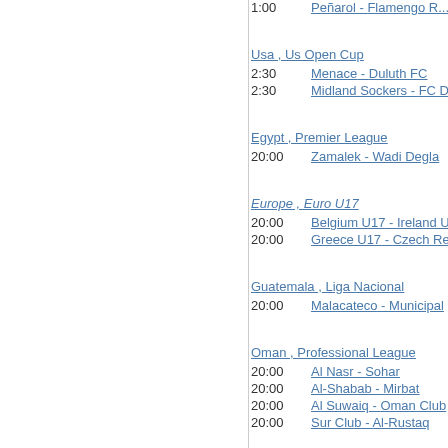1:00   Peñarol - Flamengo R...
Usa , Us Open Cup
2:30   Menace - Duluth FC
2:30   Midland Sockers - FC Den...
Egypt , Premier League
20:00   Zamalek - Wadi Degla
Europe , Euro U17
20:00   Belgium U17 - Ireland U1...
20:00   Greece U17 - Czech Republi...
Guatemala , Liga Nacional
20:00   Malacateco - Municipal
Oman , Professional League
20:00   Al Nasr - Sohar
20:00   Al-Shabab - Mirbat
20:00   Al Suwaiq - Oman Club
20:00   Sur Club - Al-Rustaq